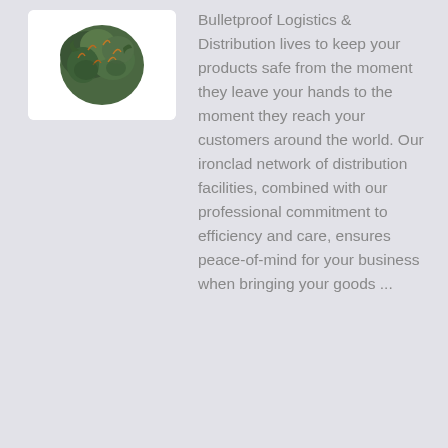[Figure (photo): A close-up photo of cannabis buds (dark green with orange highlights) on a white background inside a rounded white card.]
Bulletproof Logistics & Distribution lives to keep your products safe from the moment they leave your hands to the moment they reach your customers around the world. Our ironclad network of distribution facilities, combined with our professional commitment to efficiency and care, ensures peace-of-mind for your business when bringing your goods ...